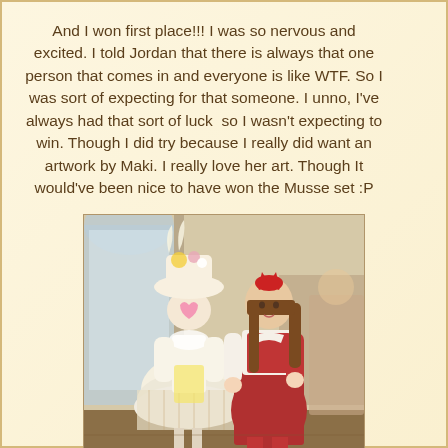And I won first place!!! I was so nervous and excited. I told Jordan that there is always that one person that comes in and everyone is like WTF. So I was sort of expecting for that someone. I unno, I've always had that sort of luck  so I wasn't expecting to win. Though I did try because I really did want an artwork by Maki. I really love her art. Though It would've been nice to have won the Musse set :P
[Figure (photo): Two people in elaborate costumes/lolita fashion standing together indoors. The person on the left wears a white and cream frilly dress with a large decorated hat, and a pink heart covering their face. The person on the right wears a red and white lolita outfit with a red bow headpiece and has long brown hair.]